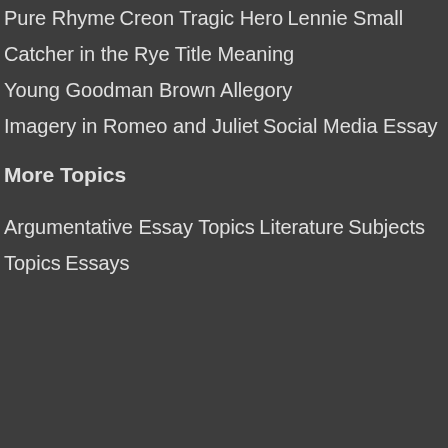Pure Rhyme
Creon Tragic Hero
Lennie Small
Catcher in the Rye Title Meaning
Young Goodman Brown Allegory
Imagery in Romeo and Juliet
Social Media Essay
More Topics
Argumentative Essay Topics
Literature
Subjects
Topics
Essays